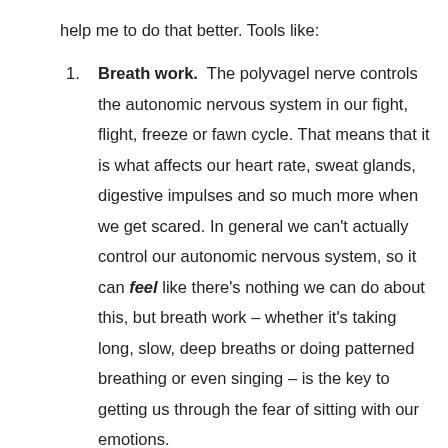help me to do that better. Tools like:
Breath work. The polyvagel nerve controls the autonomic nervous system in our fight, flight, freeze or fawn cycle. That means that it is what affects our heart rate, sweat glands, digestive impulses and so much more when we get scared. In general we can't actually control our autonomic nervous system, so it can feel like there's nothing we can do about this, but breath work – whether it's taking long, slow, deep breaths or doing patterned breathing or even singing – is the key to getting us through the fear of sitting with our emotions.
Nature. When we are outside – sitting by water, scrunching our toes deep into the sand, underneath the canopy of our favourite tree or